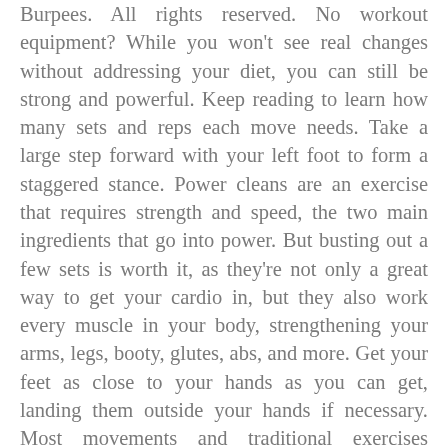Burpees. All rights reserved. No workout equipment? While you won't see real changes without addressing your diet, you can still be strong and powerful. Keep reading to learn how many sets and reps each move needs. Take a large step forward with your left foot to form a staggered stance. Power cleans are an exercise that requires strength and speed, the two main ingredients that go into power. But busting out a few sets is worth it, as they're not only a great way to get your cardio in, but they also work every muscle in your body, strengthening your arms, legs, booty, glutes, abs, and more. Get your feet as close to your hands as you can get, landing them outside your hands if necessary. Most movements and traditional exercises (bench, curls and leg press) are initiated from a contracted pre working state. A standard pullup is challenging to complete, even for avid exercisers. A twist on a jumping jack, rotational jacks are a good way to kick off a workout. But there are certainly some